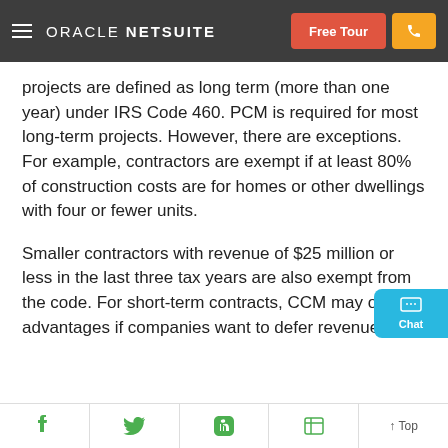Oracle NetSuite — Free Tour
projects are defined as long term (more than one year) under IRS Code 460. PCM is required for most long-term projects. However, there are exceptions. For example, contractors are exempt if at least 80% of construction costs are for homes or other dwellings with four or fewer units.
Smaller contractors with revenue of $25 million or less in the last three tax years are also exempt from the code. For short-term contracts, CCM may offer advantages if companies want to defer revenue to a future period…
f   Twitter   in   Flipboard   ↑ Top